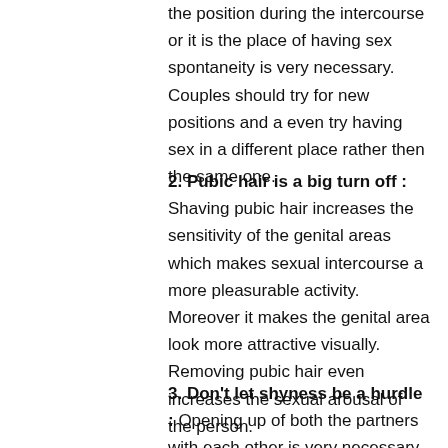the position during the intercourse or it is the place of having sex spontaneity is very necessary. Couples should try for new positions and a even try having sex in a different place rather then the same one.
2. Pubic hair is a big turn off : Shaving pubic hair increases the sensitivity of the genital areas which makes sexual intercourse a more pleasurable activity. Moreover it makes the genital area look more attractive visually. Removing pubic hair even increases the sexual arousal of the person.
3. Don't let shyness be a hurdle : Opening up of both the partners with each other is very necessary. If they do not do so, they will not